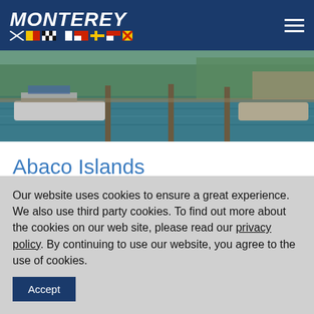MONTEREY
[Figure (photo): Marina scene with boats docked at a waterway, green trees in background]
Abaco Islands
Wed, Aug 28, 2013
We're traveling 250 miles south of Florida's
Our website uses cookies to ensure a great experience. We also use third party cookies. To find out more about the cookies on our web site, please read our privacy policy. By continuing to use our website, you agree to the use of cookies.